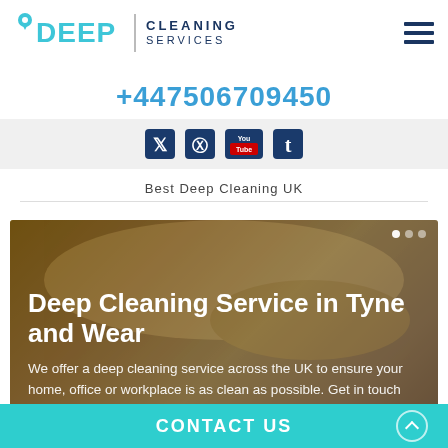DEEP CLEANING SERVICES
+447506709450
[Figure (other): Social media icons: Twitter, Pinterest, YouTube, Tumblr on a light grey background]
Best Deep Cleaning UK
[Figure (photo): Hero image with warm golden background showing plant/decorative elements with dark overlay. Text overlay: 'Deep Cleaning Service in Tyne and Wear' and 'We offer a deep cleaning service across the UK to ensure your home, office or workplace is as clean as possible. Get in touch today for a quote.']
Deep Cleaning Service in Tyne and Wear
We offer a deep cleaning service across the UK to ensure your home, office or workplace is as clean as possible. Get in touch today for a quote.
CONTACT US